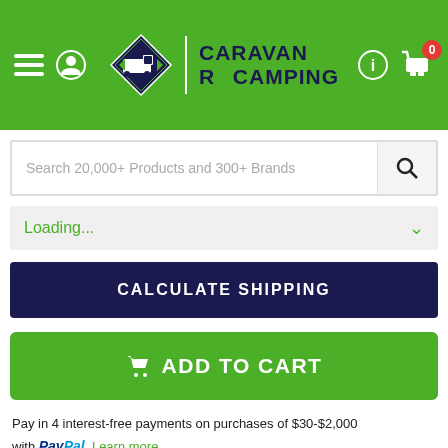[Figure (logo): Caravan RV Camping website header with green background, hamburger menu, user icon, diamond-shaped logo with RV truck, CARAVAN RV CAMPING text, info icon, and shopping cart with 0 badge]
Search 20,000+ Products and 300+ Brands
Loading...
CALCULATE SHIPPING
ADD TO CART
Pay in 4 interest-free payments on purchases of $30-$2,000 with PayPal. Learn more
Own it now, pay later  Zip  Learn More»